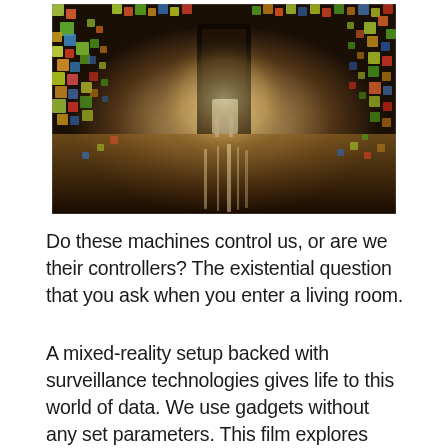[Figure (photo): A mixed-reality or digital art installation room with colorful floating cubes/blocks covering the walls, ceiling, and floor, with a reflective surface and a doorway/frame in the center. Warm glowing light from the center, dark and immersive atmosphere.]
Do these machines control us, or are we their controllers? The existential question that you ask when you enter a living room.
A mixed-reality setup backed with surveillance technologies gives life to this world of data. We use gadgets without any set parameters. This film explores how the data that we feed in our machines can be used in future against us